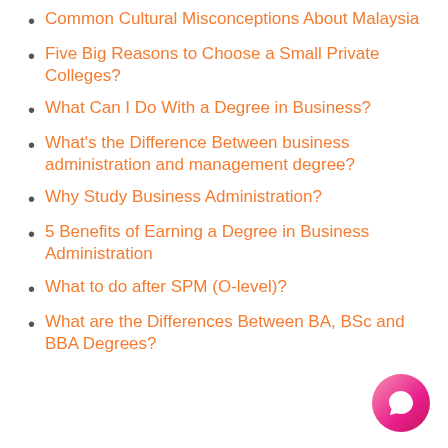Common Cultural Misconceptions About Malaysia
Five Big Reasons to Choose a Small Private Colleges?
What Can I Do With a Degree in Business?
What's the Difference Between business administration and management degree?
Why Study Business Administration?
5 Benefits of Earning a Degree in Business Administration
What to do after SPM (O-level)?
What are the Differences Between BA, BSc and BBA Degrees?